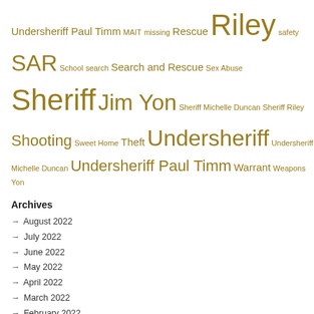Undersheriff Paul Timm MAIT missing Rescue Riley safety SAR School search Search and Rescue Sex Abuse Sheriff Jim Yon Sheriff Michelle Duncan Sheriff Riley Shooting Sweet Home Theft Undersheriff Undersheriff Michelle Duncan Undersheriff Paul Timm Warrant Weapons Yon
Archives
→ August 2022
→ July 2022
→ June 2022
→ May 2022
→ April 2022
→ March 2022
→ February 2022
→ January 2022
→ December 2021
→ November 2021
→ October 2021